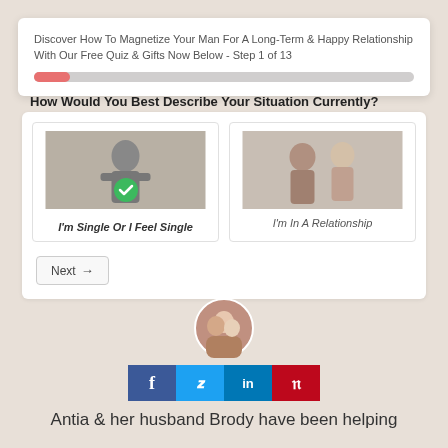Discover How To Magnetize Your Man For A Long-Term & Happy Relationship With Our Free Quiz & Gifts Now Below - Step 1 of 13
How Would You Best Describe Your Situation Currently?
[Figure (screenshot): Quiz interface with two selectable image choices: 'I'm Single Or I Feel Single' (selected, with green checkmark) and 'I'm In A Relationship']
[Figure (photo): Circular profile photo of couple (Antia and Brody)]
[Figure (infographic): Social media share buttons: Facebook (f), Twitter (bird), LinkedIn (in), Pinterest (P)]
Antia & her husband Brody have been helping